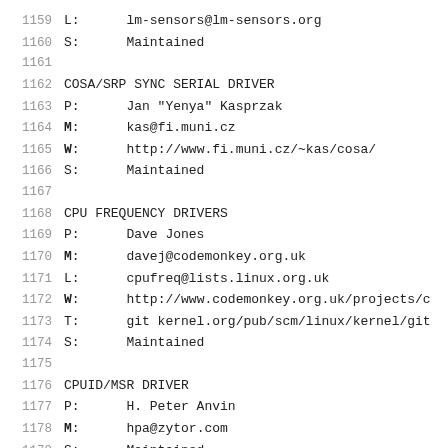1159    L:      lm-sensors@lm-sensors.org
1160    S:      Maintained
1161
1162    COSA/SRP SYNC SERIAL DRIVER
1163    P:      Jan "Yenya" Kasprzak
1164    M:      kas@fi.muni.cz
1165    W:      http://www.fi.muni.cz/~kas/cosa/
1166    S:      Maintained
1167
1168    CPU FREQUENCY DRIVERS
1169    P:      Dave Jones
1170    M:      davej@codemonkey.org.uk
1171    L:      cpufreq@lists.linux.org.uk
1172    W:      http://www.codemonkey.org.uk/projects/c
1173    T:      git kernel.org/pub/scm/linux/kernel/git
1174    S:      Maintained
1175
1176    CPUID/MSR DRIVER
1177    P:      H. Peter Anvin
1178    M:      hpa@zytor.com
1179    S:      Maintained
1180